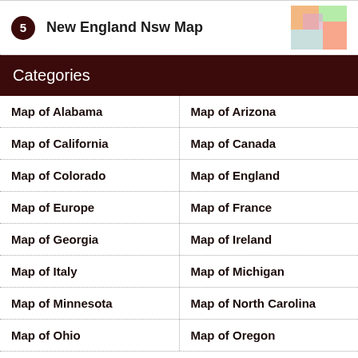5 New England Nsw Map
Categories
Map of Alabama
Map of Arizona
Map of California
Map of Canada
Map of Colorado
Map of England
Map of Europe
Map of France
Map of Georgia
Map of Ireland
Map of Italy
Map of Michigan
Map of Minnesota
Map of North Carolina
Map of Ohio
Map of Oregon